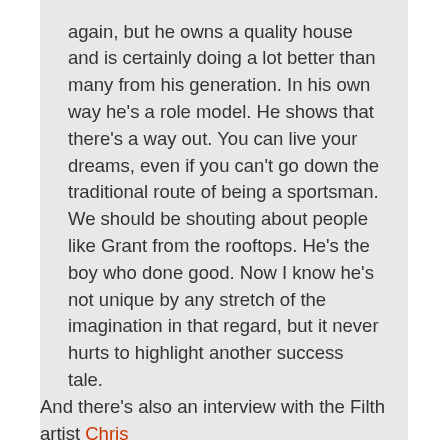again, but he owns a quality house and is certainly doing a lot better than many from his generation. In his own way he's a role model. He shows that there's a way out. You can live your dreams, even if you can't go down the traditional route of being a sportsman. We should be shouting about people like Grant from the rooftops. He's the boy who done good. Now I know he's not unique by any stretch of the imagination in that regard, but it never hurts to highlight another success tale.
And there's also an interview with the Filth artist Chris